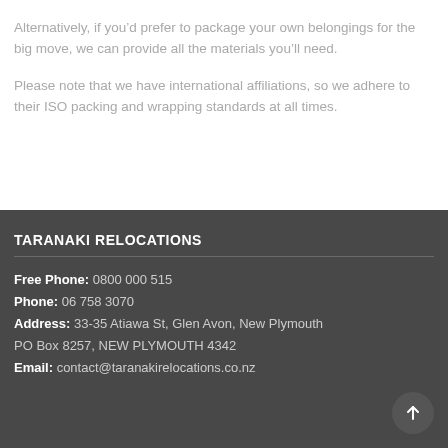Alternatively, if you'd prefer to package your own belongings for the big move, we can provide all the materials you'll need.
Please note that we have international affiliations, so we adhere to their ISO packing and wrapping standards at all times.
TARANAKI RELOCATIONS
Free Phone: 0800 000 515
Phone: 06 758 3070
Address: 33-35 Atiawa St, Glen Avon, New Plymouth
PO Box 8257, NEW PLYMOUTH 4342
Email: contact@taranakirelocations.co.nz